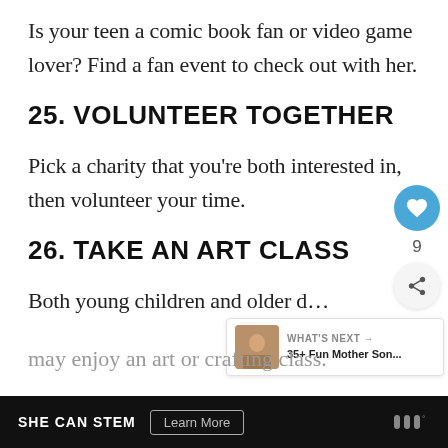Is your teen a comic book fan or video game lover? Find a fan event to check out with her.
25. VOLUNTEER TOGETHER
Pick a charity that you're both interested in, then volunteer your time.
26. TAKE AN ART CLASS
Both young children and older d...
may enjoy an art or crafting class.
SHE CAN STEM   Learn More